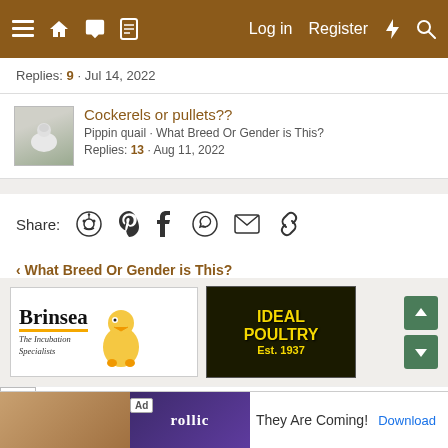Navigation bar with menu, home, chat, document icons. Log in, Register, lightning, search icons.
Replies: 9 · Jul 14, 2022
Cockerels or pullets??
Pippin quail · What Breed Or Gender is This?
Replies: 13 · Aug 11, 2022
Share: (reddit) (pinterest) (tumblr) (whatsapp) (email) (link)
< What Breed Or Gender is This?
[Figure (advertisement): Brinsea - The Incubation Specialists ad with chick image]
[Figure (advertisement): IDEAL POULTRY Est. 1937 ad]
[Figure (advertisement): AdorStore Automatic Chicken Door ad]
[Figure (advertisement): Rollic mobile game ad - They Are Coming! with Download button]